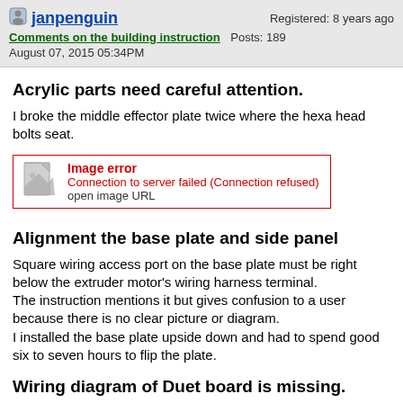janpenguin
Comments on the building instruction  Posts: 189
Registered: 8 years ago
August 07, 2015 05:34PM
Acrylic parts need careful attention.
I broke the middle effector plate twice where the hexa head bolts seat.
[Figure (other): Image error box: Connection to server failed (Connection refused), open image URL]
Alignment the base plate and side panel
Square wiring access port on the base plate must be right below the extruder motor's wiring harness terminal.
The instruction mentions it but gives confusion to a user because there is no clear picture or diagram.
I installed the base plate upside down and had to spend good six to seven hours to flip the plate.
Wiring diagram of Duet board is missing.